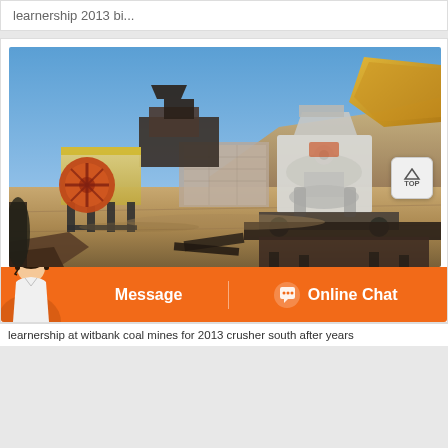learnership 2013 bi...
[Figure (photo): Outdoor mining site with jaw crusher (left, yellow/brown with large red circular flywheel) and cone crusher (right, white) on arid desert terrain with blue sky background]
Message  Online Chat
learnership at witbank coal mines for 2013 crusher south after years